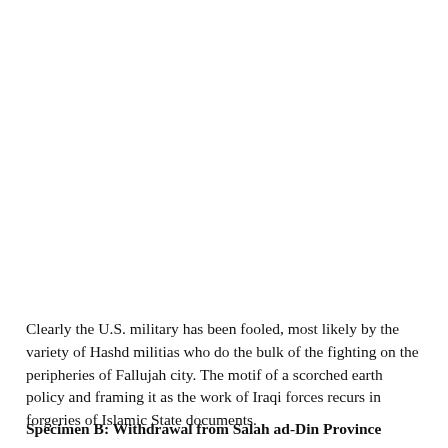Clearly the U.S. military has been fooled, most likely by the variety of Hashd militias who do the bulk of the fighting on the peripheries of Fallujah city. The motif of a scorched earth policy and framing it as the work of Iraqi forces recurs in forgeries of Islamic State documents.
Specimen B: Withdrawal from Salah ad-Din Province